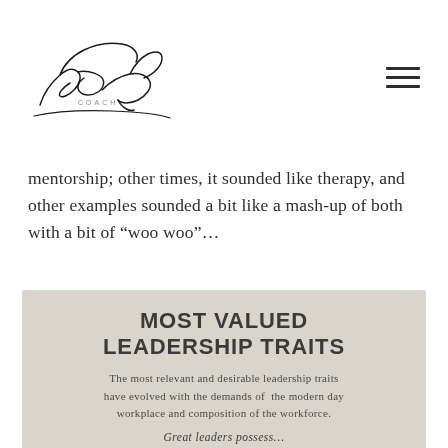Brandi Keiser Coach [logo] [hamburger menu]
mentorship; other times, it sounded like therapy, and other examples sounded a bit like a mash-up of both with a bit of “woo woo”…
[Figure (infographic): Tan/beige infographic panel titled 'MOST VALUED LEADERSHIP TRAITS' with subtitle 'The most relevant and desirable leadership traits have evolved with the demands of the modern day workplace and composition of the workforce.' followed by 'Great leaders possess...' and a large numeral '1' partially visible at the bottom.]